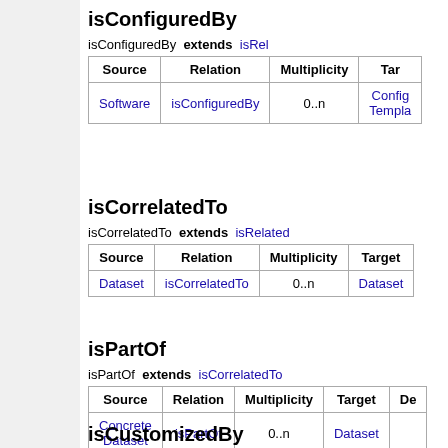isConfiguredBy
| Source | Relation | Multiplicity | Target |
| --- | --- | --- | --- |
| Software | isConfiguredBy | 0..n | ConfigTemplate |
isCorrelatedTo
| Source | Relation | Multiplicity | Target |
| --- | --- | --- | --- |
| Dataset | isCorrelatedTo | 0..n | Dataset |
isPartOf
| Source | Relation | Multiplicity | Target | De |
| --- | --- | --- | --- | --- |
| Concrete Dataset | isPartOf | 0..n | Dataset |  |
isCustomizedBy